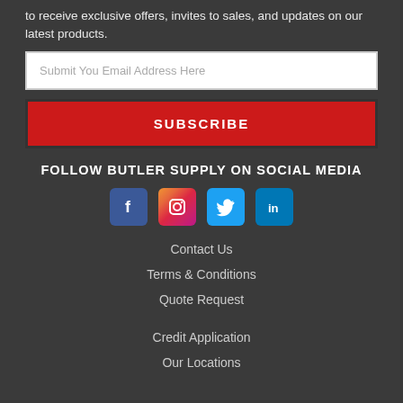to receive exclusive offers, invites to sales, and updates on our latest products.
Submit You Email Address Here
SUBSCRIBE
FOLLOW BUTLER SUPPLY ON SOCIAL MEDIA
[Figure (infographic): Four social media icons: Facebook, Instagram, Twitter, LinkedIn]
Contact Us
Terms & Conditions
Quote Request
Credit Application
Our Locations